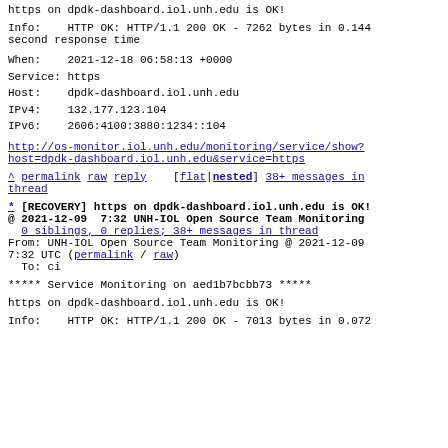https on dpdk-dashboard.iol.unh.edu is OK!
Info:    HTTP OK: HTTP/1.1 200 OK - 7262 bytes in 0.144 second response time
When:    2021-12-18 06:58:13 +0000
Service: https
Host:    dpdk-dashboard.iol.unh.edu
IPv4:    132.177.123.104
IPv6:    2606:4100:3880:1234::104
http://os-monitor.iol.unh.edu/monitoring/service/show?host=dpdk-dashboard.iol.unh.edu&service=https
^ permalink raw reply    [flat|nested] 38+ messages in thread
* [RECOVERY] https on dpdk-dashboard.iol.unh.edu is OK!
@ 2021-12-09  7:32 UNH-IOL Open Source Team Monitoring
  0 siblings, 0 replies; 38+ messages in thread
From: UNH-IOL Open Source Team Monitoring @ 2021-12-09 7:32 UTC (permalink / raw)
  To: ci
***** Service Monitoring on aed1b7bcbb73 *****
https on dpdk-dashboard.iol.unh.edu is OK!
Info:    HTTP OK: HTTP/1.1 200 OK - 7013 bytes in 0.072